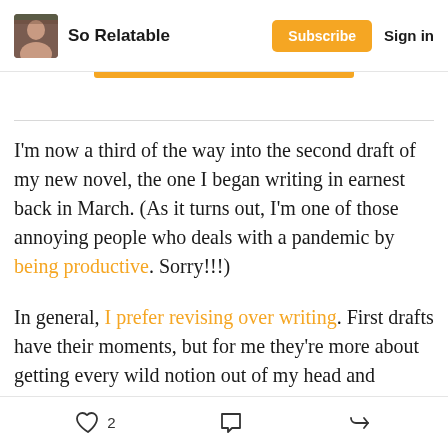So Relatable | Subscribe | Sign in
I'm now a third of the way into the second draft of my new novel, the one I began writing in earnest back in March. (As it turns out, I'm one of those annoying people who deals with a pandemic by being productive. Sorry!!!)
In general, I prefer revising over writing. First drafts have their moments, but for me they're more about getting every wild notion out of my head and
2 [like] [comment] [share]